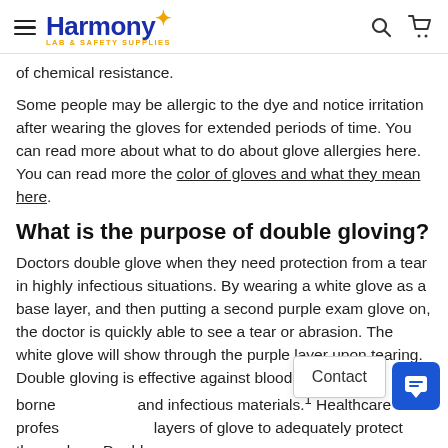Harmony LAB & SAFETY SUPPLIES
of chemical resistance.
Some people may be allergic to the dye and notice irritation after wearing the gloves for extended periods of time. You can read more about what to do about glove allergies here. You can read more the color of gloves and what they mean here.
What is the purpose of double gloving?
Doctors double glove when they need protection from a tear in highly infectious situations. By wearing a white glove as a base layer, and then putting a second purple exam glove on, the doctor is quickly able to see a tear or abrasion. The white glove will show through the purple layer upon tearing. Double gloving is effective against blood-borne and infectious materials.¹ Healthcare professionals wear two layers of glove to adequately protect themselves. Double